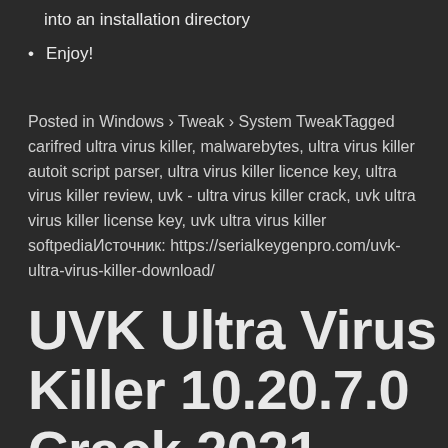into an installation directory
Enjoy!
Posted in Windows › Tweak › System TweakTagged carifred ultra virus killer, malwarebytes, ultra virus killer autoit script parser, ultra virus killer licence key, ultra virus killer review, uvk - ultra virus killer crack, uvk ultra virus killer license key, uvk ultra virus killer softpediaИсточник: https://serialkeygenpro.com/uvk-ultra-virus-killer-download/
UVK Ultra Virus Killer 10.20.7.0 Crack 2021